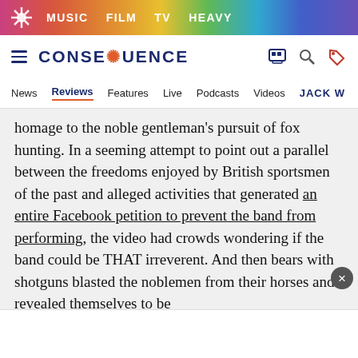MUSIC  FILM  TV  HEAVY
CONSEQUENCE
News  Reviews  Features  Live  Podcasts  Videos  JACK W
homage to the noble gentleman's pursuit of fox hunting. In a seeming attempt to point out a parallel between the freedoms enjoyed by British sportsmen of the past and alleged activities that generated an entire Facebook petition to prevent the band from performing, the video had crowds wondering if the band could be THAT irreverent. And then bears with shotguns blasted the noblemen from their horses and revealed themselves to be